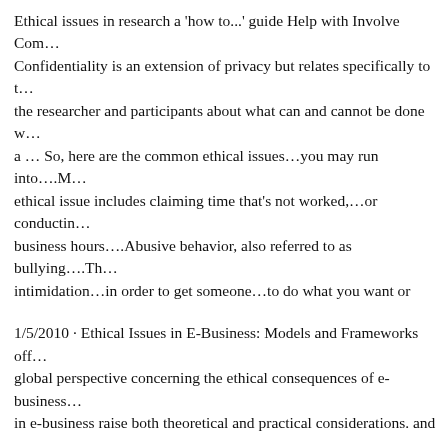Ethical issues in research a 'how to...' guide Help with Involve Com... Confidentiality is an extension of privacy but relates specifically to the researcher and participants about what can and cannot be done w... a … So, here are the common ethical issues…you may run into….M... ethical issue includes claiming time that's not worked,…or conductin... business hours….Abusive behavior, also referred to as bullying….Th... intimidation…in order to get someone…to do what you want or
1/5/2010 · Ethical Issues in E-Business: Models and Frameworks off... global perspective concerning the ethical consequences of e-business... in e-business raise both theoretical and practical considerations. and ... ethical issues of e-business. So, here are the common ethical issues... Misusing company time….This ethical issue includes claiming time ... conducting personal business during business hours….Abusive beha... bullying….This issue involves using intimidation…in order to get so... want or
9/11/2019 · Ethical issues in business include concerns of quality, va... category of corporate responsibility. In addition to proper treatment...